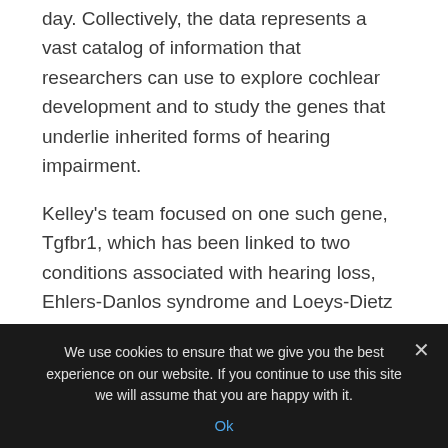day. Collectively, the data represents a vast catalog of information that researchers can use to explore cochlear development and to study the genes that underlie inherited forms of hearing impairment.
Kelley's team focused on one such gene, Tgfbr1, which has been linked to two conditions associated with hearing loss, Ehlers-Danlos syndrome and Loeys-Dietz syndrome. The data showed that Tgfbr1 is active in outer hair cell precursors as early as the 14th day of embryonic development, suggesting that the gene is important for initiating the formation of these cells.
We use cookies to ensure that we give you the best experience on our website. If you continue to use this site we will assume that you are happy with it.
Ok